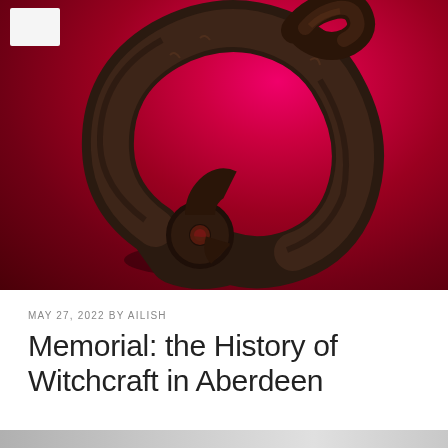[Figure (photo): A dark iron object, resembling a historical witches' bridle or shackle, displayed against a deep crimson/magenta red background. The object has a curved, looped shape with a small circular hole. A small white card/label is visible in the upper left corner.]
MAY 27, 2022 BY AILISH
Memorial: the History of Witchcraft in Aberdeen